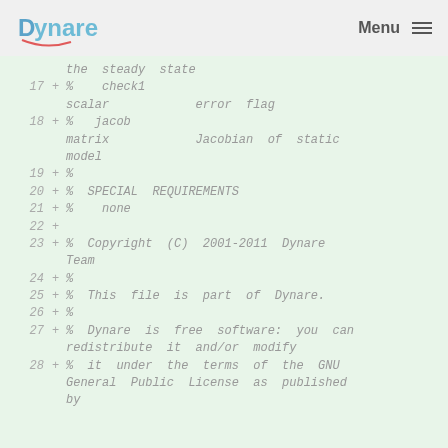Dynare   Menu
the steady state
17 + %    check1
scalar            error flag
18 + %   jacob
matrix            Jacobian of static model
19 + %
20 + % SPECIAL REQUIREMENTS
21 + %    none
22 +
23 + % Copyright (C) 2001-2011 Dynare Team
24 + %
25 + % This file is part of Dynare.
26 + %
27 + % Dynare is free software: you can redistribute it and/or modify
28 + % it under the terms of the GNU General Public License as published by